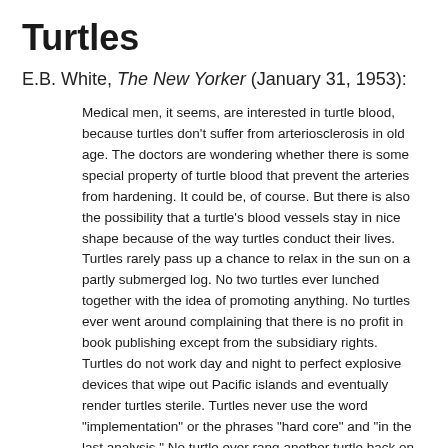Turtles
E.B. White, The New Yorker (January 31, 1953):
Medical men, it seems, are interested in turtle blood, because turtles don't suffer from arteriosclerosis in old age. The doctors are wondering whether there is some special property of turtle blood that prevent the arteries from hardening. It could be, of course. But there is also the possibility that a turtle's blood vessels stay in nice shape because of the way turtles conduct their lives. Turtles rarely pass up a chance to relax in the sun on a partly submerged log. No two turtles ever lunched together with the idea of promoting anything. No turtles ever went around complaining that there is no profit in book publishing except from the subsidiary rights. Turtles do not work day and night to perfect explosive devices that wipe out Pacific islands and eventually render turtles sterile. Turtles never use the word "implementation" or the phrases "hard core" and "in the last analysis." No turtle ever rang another turtle back on the phone. In the last analysis, a turtle, although lacking know-how, knows how to live. A turtle, by its admirable